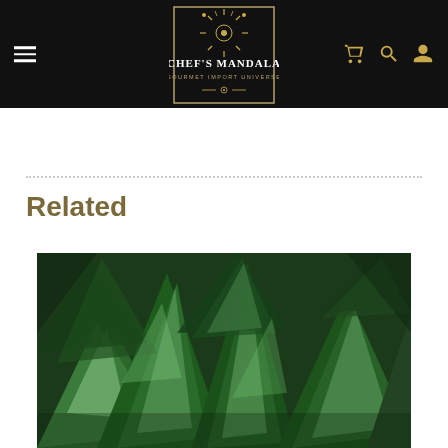Chef's Mandala - Gourmet Import Universe
Related
[Figure (photo): Close-up photograph of green leaves, showing overlapping dark and light green foliage]